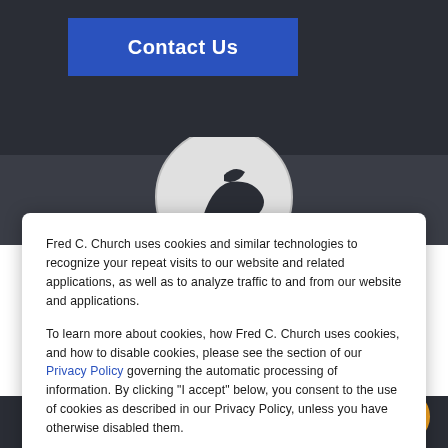[Figure (screenshot): Dark website header background with a 'Contact Us' blue button in the top left, and a circular logo partially visible in the middle area.]
Fred C. Church uses cookies and similar technologies to recognize your repeat visits to our website and related applications, as well as to analyze traffic to and from our website and applications.
To learn more about cookies, how Fred C. Church uses cookies, and how to disable cookies, please see the section of our Privacy Policy governing the automatic processing of information. By clicking "I accept" below, you consent to the use of cookies as described in our Privacy Policy, unless you have otherwise disabled them.
Cookie settings
ACCEPT
Our Story